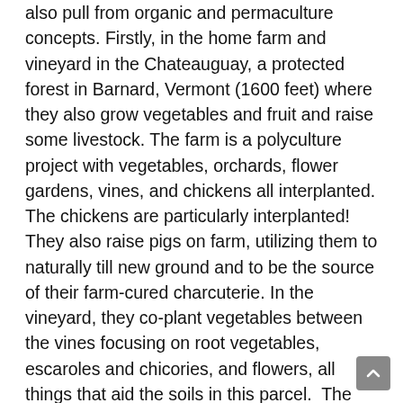also pull from organic and permaculture concepts. Firstly, in the home farm and vineyard in the Chateauguay, a protected forest in Barnard, Vermont (1600 feet) where they also grow vegetables and fruit and raise some livestock. The farm is a polyculture project with vegetables, orchards, flower gardens, vines, and chickens all interplanted. The chickens are particularly interplanted! They also raise pigs on farm, utilizing them to naturally till new ground and to be the source of their farm-cured charcuterie. In the vineyard, they co-plant vegetables between the vines focusing on root vegetables, escaroles and chicories, and flowers, all things that aid the soils in this parcel.  The two other parcels are in the Champlain Valley (184/194 feet) and are close to Lake Champlain. No-till and natural field cover crops are part of the farming at these two sites, and we appreciate the flavor and for...